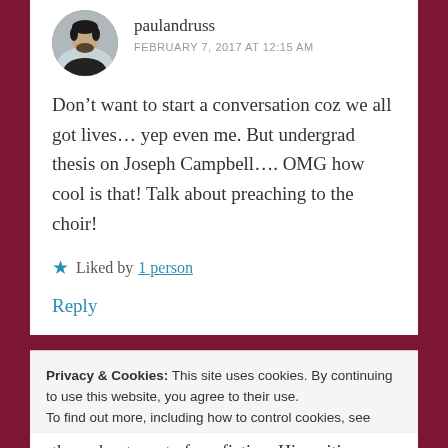paulandruss
FEBRUARY 7, 2017 AT 12:15 AM
Don't want to start a conversation coz we all got lives... yep even me. But undergrad thesis on Joseph Campbell.... OMG how cool is that! Talk about preaching to the choir!
★ Liked by 1 person
Reply
Privacy & Cookies: This site uses cookies. By continuing to use this website, you agree to their use.
To find out more, including how to control cookies, see here:
Cookie Policy
Close and accept
throughout most of my fiction. His writing